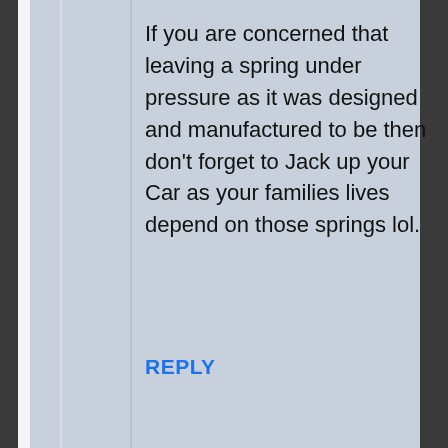If you are concerned that leaving a spring under pressure as it was designed and manufactured to be then don't forget to Jack up your Car as your families lives depend on those springs lol.
REPLY